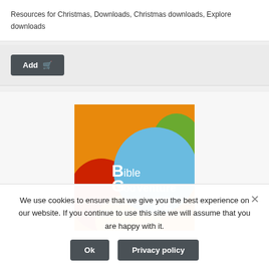Resources for Christmas, Downloads, Christmas downloads, Explore downloads
Add
[Figure (photo): Book cover of 'Bible GodVenture 52' showing colorful balloons with text on a blue balloon]
We use cookies to ensure that we give you the best experience on our website. If you continue to use this site we will assume that you are happy with it.
Ok
Privacy policy